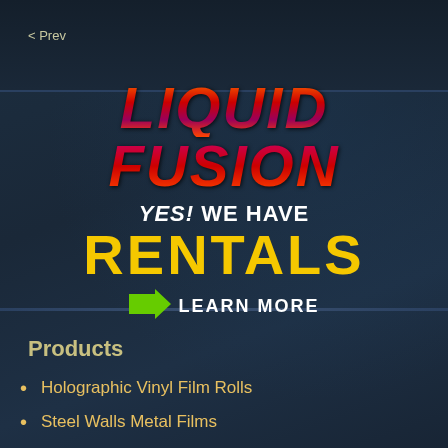< Prev
[Figure (logo): Liquid Fusion logo with colorful gradient text showing LIQUID FUSION, YES! WE HAVE RENTALS, and a green arrow with LEARN MORE]
Products
Holographic Vinyl Film Rolls
Steel Walls Metal Films